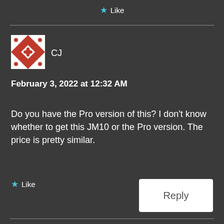★ Like
[Figure (illustration): Red and white geometric quilt pattern avatar image for user CJ]
CJ
February 3, 2022 at 12:32 AM
Do you have the Pro version of this? I don't know whether to get this JM10 or the Pro version. The price is pretty similar.
★ Like
Reply